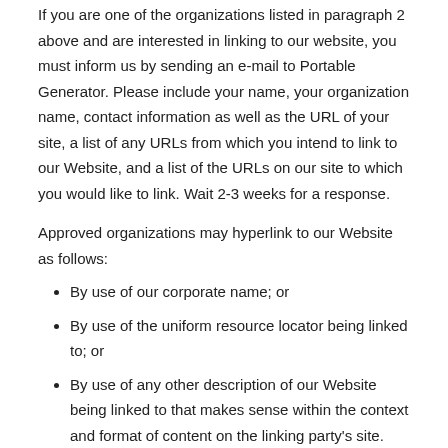If you are one of the organizations listed in paragraph 2 above and are interested in linking to our website, you must inform us by sending an e-mail to Portable Generator. Please include your name, your organization name, contact information as well as the URL of your site, a list of any URLs from which you intend to link to our Website, and a list of the URLs on our site to which you would like to link. Wait 2-3 weeks for a response.
Approved organizations may hyperlink to our Website as follows:
By use of our corporate name; or
By use of the uniform resource locator being linked to; or
By use of any other description of our Website being linked to that makes sense within the context and format of content on the linking party's site.
No use of Portable Generator's logo or other artwork will be allowed for linking absent a trademark license agreement.